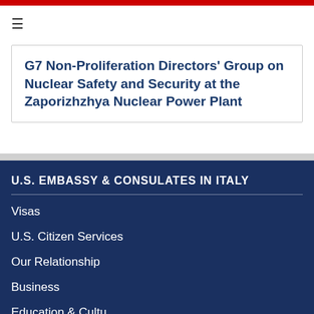G7 Non-Proliferation Directors' Group on Nuclear Safety and Security at the Zaporizhzhya Nuclear Power Plant
U.S. EMBASSY & CONSULATES IN ITALY
Visas
U.S. Citizen Services
Our Relationship
Business
Education & Culture